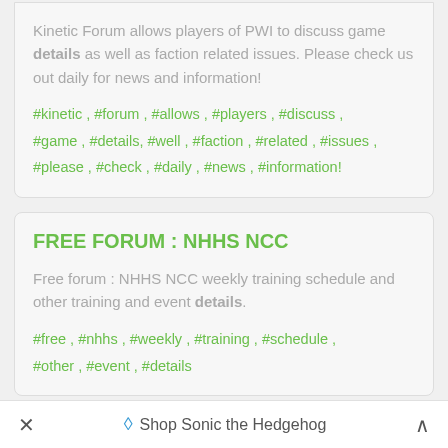Kinetic Forum allows players of PWI to discuss game details as well as faction related issues. Please check us out daily for news and information!
#kinetic , #forum , #allows , #players , #discuss , #game , #details, #well , #faction , #related , #issues , #please , #check , #daily , #news , #information!
FREE FORUM : NHHS NCC
Free forum : NHHS NCC weekly training schedule and other training and event details.
#free , #nhhs , #weekly , #training , #schedule , #other , #event , #details
G&R FORUMS
Shop Sonic the Hedgehog